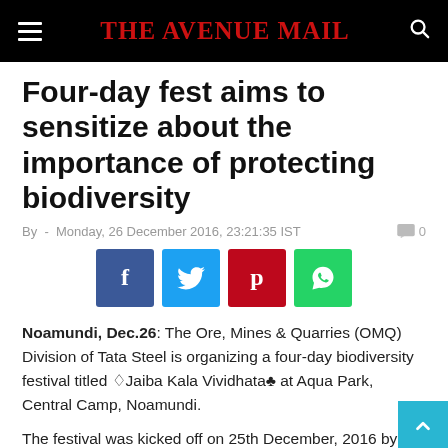THE AVENUE MAIL
Four-day fest aims to sensitize about the importance of protecting biodiversity
By  -  Monday, 26 December 2016, 23:21:35 IST   0
[Figure (other): Social media sharing buttons: Facebook, Twitter, Pinterest, WhatsApp]
Noamundi, Dec.26: The Ore, Mines & Quarries (OMQ) Division of Tata Steel is organizing a four-day biodiversity festival titled âJaiba Kala Vividhataâ at Aqua Park, Central Camp, Noamundi.
The festival was kicked off on 25th December, 2016 by the